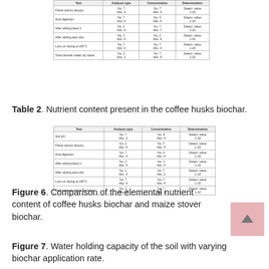[Figure (table-as-image): Partial table at top of page, columns: Test, Analysis type, Concentration, Determination]
Table 2. Nutrient content present in the coffee husks biochar.
[Figure (table-as-image): Table 2 showing nutrient content in coffee husks biochar with columns for Test, Analysis type, Concentration, Determination]
Figure 6. Comparison of the elemental nutrient content of coffee husks biochar and maize stover biochar.
Figure 7. Water holding capacity of the soil with varying biochar application rate.